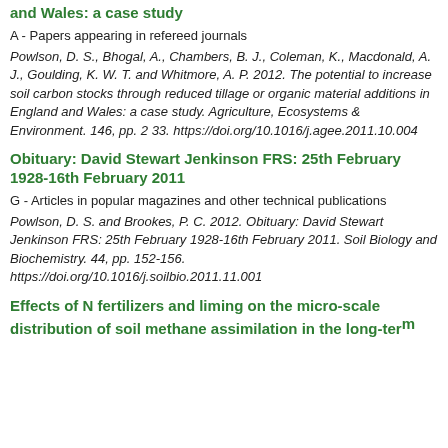and Wales: a case study
A - Papers appearing in refereed journals
Powlson, D. S., Bhogal, A., Chambers, B. J., Coleman, K., Macdonald, A. J., Goulding, K. W. T. and Whitmore, A. P. 2012. The potential to increase soil carbon stocks through reduced tillage or organic material additions in England and Wales: a case study. Agriculture, Ecosystems & Environment. 146, pp. 2 33. https://doi.org/10.1016/j.agee.2011.10.004
Obituary: David Stewart Jenkinson FRS: 25th February 1928-16th February 2011
G - Articles in popular magazines and other technical publications
Powlson, D. S. and Brookes, P. C. 2012. Obituary: David Stewart Jenkinson FRS: 25th February 1928-16th February 2011. Soil Biology and Biochemistry. 44, pp. 152-156. https://doi.org/10.1016/j.soilbio.2011.11.001
Effects of N fertilizers and liming on the micro-scale distribution of soil methane assimilation in the long-term Park Grass experiment at Rothamsted